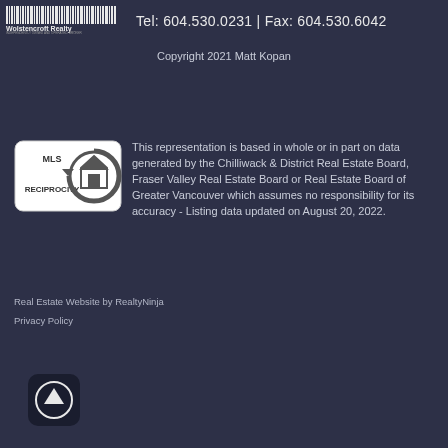Wolstencroft Realty  Tel: 604.530.0231 | Fax: 604.530.6042
Copyright 2021 Matt Kopan
[Figure (logo): MLS Reciprocity logo — white rounded rectangle with 'MLS RECIPROCITY' text and a circular house icon]
This representation is based in whole or in part on data generated by the Chilliwack & District Real Estate Board, Fraser Valley Real Estate Board or Real Estate Board of Greater Vancouver which assumes no responsibility for its accuracy - Listing data updated on August 20, 2022.
Real Estate Website by RealtyNinja
Privacy Policy
[Figure (illustration): Dark rounded square button with an upward-pointing arrow icon (scroll to top button)]